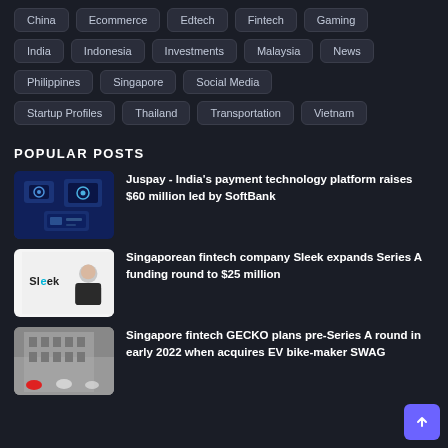China
Ecommerce
Edtech
Fintech
Gaming
India
Indonesia
Investments
Malaysia
News
Philippines
Singapore
Social Media
Startup Profiles
Thailand
Transportation
Vietnam
POPULAR POSTS
Juspay - India's payment technology platform raises $60 million led by SoftBank
Singaporean fintech company Sleek expands Series A funding round to $25 million
Singapore fintech GECKO plans pre-Series A round in early 2022 when acquires EV bike-maker SWAG